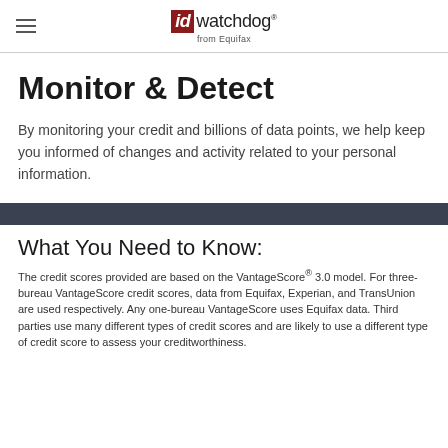id watchdog from Equifax
Monitor & Detect
By monitoring your credit and billions of data points, we help keep you informed of changes and activity related to your personal information.
What You Need to Know:
The credit scores provided are based on the VantageScore® 3.0 model. For three-bureau VantageScore credit scores, data from Equifax, Experian, and TransUnion are used respectively. Any one-bureau VantageScore uses Equifax data. Third parties use many different types of credit scores and are likely to use a different type of credit score to assess your creditworthiness.